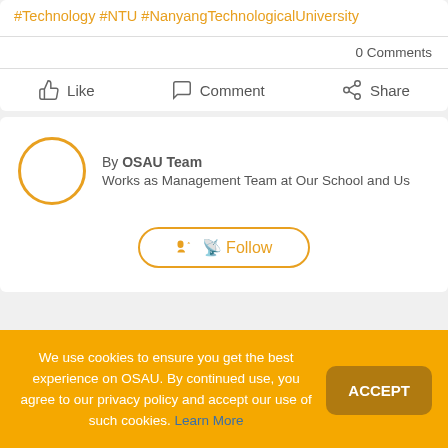#Technology #NTU #NanyangTechnologicalUniversity
0 Comments
Like   Comment   Share
By OSAU Team
Works as Management Team at Our School and Us
Follow
We use cookies to ensure you get the best experience on OSAU. By continued use, you agree to our privacy policy and accept our use of such cookies. Learn More
ACCEPT